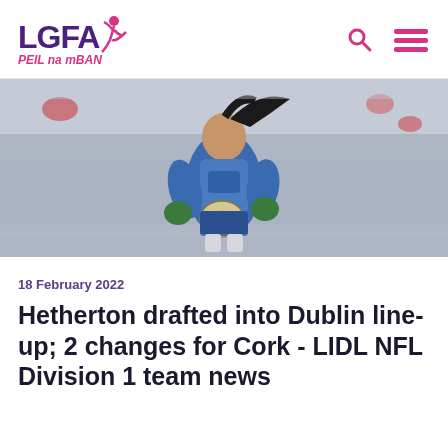LGFA PEIL na mBAN
[Figure (photo): Female Gaelic football player in blue jersey catching a ball, with stadium seating in background]
18 February 2022
Hetherton drafted into Dublin line-up; 2 changes for Cork - LIDL NFL Division 1 team news